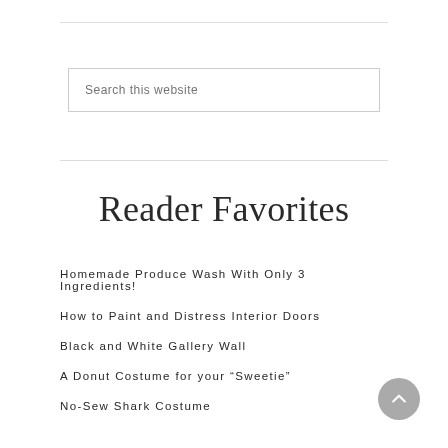Search this website
Reader Favorites
Homemade Produce Wash With Only 3 Ingredients!
How to Paint and Distress Interior Doors
Black and White Gallery Wall
A Donut Costume for your "Sweetie"
No-Sew Shark Costume